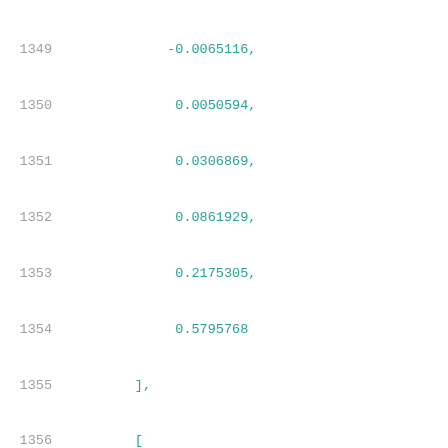Code listing lines 1349-1370 showing numerical array data with line numbers and teal-colored code values